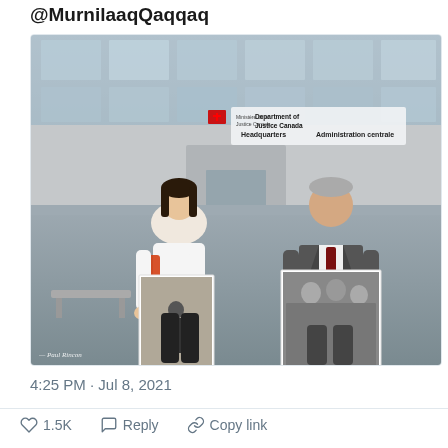@MurnilaaqQaqqaq
[Figure (photo): Two people standing in front of the Department of Justice Canada / Ministère de la Justice Canada Headquarters building, each holding black and white photographs. A woman on the left holds a photo of a lone individual outdoors. A man on the right in a suit holds a photo of a group of people. Photo credit: Paul Rincon.]
4:25 PM · Jul 8, 2021
1.5K   Reply   Copy link